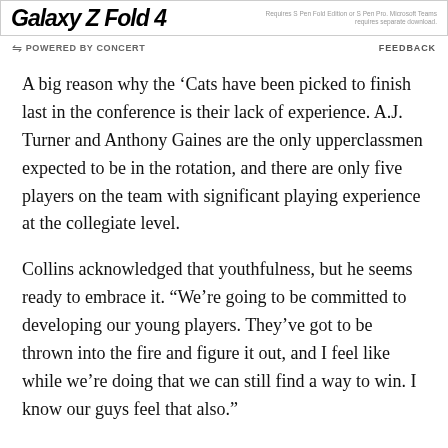[Figure (screenshot): Advertisement banner for Samsung Galaxy Z Fold 4 with bold italic logo text and disclaimer text on the right.]
POWERED BY CONCERT   FEEDBACK
A big reason why the ‘Cats have been picked to finish last in the conference is their lack of experience. A.J. Turner and Anthony Gaines are the only upperclassmen expected to be in the rotation, and there are only five players on the team with significant playing experience at the collegiate level.
Collins acknowledged that youthfulness, but he seems ready to embrace it. “We’re going to be committed to developing our young players. They’ve got to be thrown into the fire and figure it out, and I feel like while we’re doing that we can still find a way to win. I know our guys feel that also.”
One could read that statement and believe that Collins